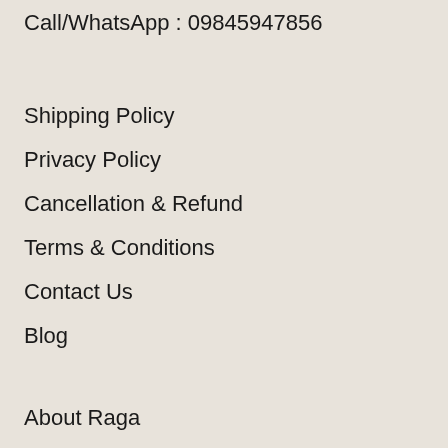Call/WhatsApp : 09845947856
Shipping Policy
Privacy Policy
Cancellation & Refund
Terms & Conditions
Contact Us
Blog
About Raga
Home Decor